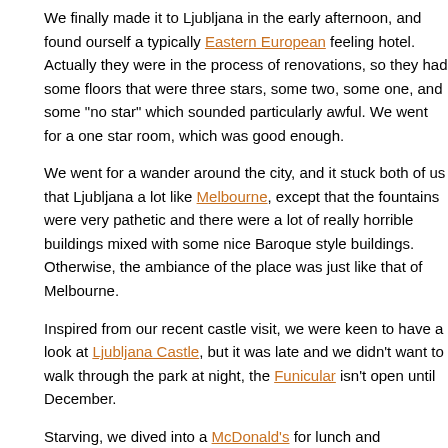We finally made it to Ljubljana in the early afternoon, and found ourself a typically Eastern European feeling hotel. Actually they were in the process of renovations, so they had some floors that were three stars, some two, some one, and some "no star" which sounded particularly awful. We went for a one star room, which was good enough.
We went for a wander around the city, and it stuck both of us that Ljubljana a lot like Melbourne, except that the fountains were very pathetic and there were a lot of really horrible buildings mixed with some nice Baroque style buildings. Otherwise, the ambiance of the place was just like that of Melbourne.
Inspired from our recent castle visit, we were keen to have a look at Ljubljana Castle, but it was late and we didn't want to walk through the park at night, the Funicular isn't open until December.
Starving, we dived into a McDonald's for lunch and continued exploring around a few parks and around the river. We eventually settled down in the afternoon for some drinks along Petkovškovo Nabrežje.
Around this area, the city is quite alive, with lots of live music, bars, restaurants and so-on, and really made the city look quite liveable. Ljubljana's a great place and I hope to head back there some day.